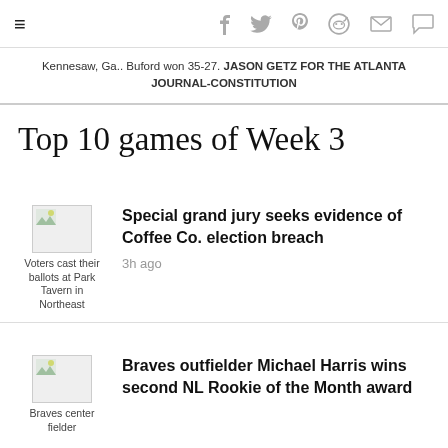≡  f  🐦  p  reddit  ✉  💬
Kennesaw, Ga.. Buford won 35-27. JASON GETZ FOR THE ATLANTA JOURNAL-CONSTITUTION
Top 10 games of Week 3
[Figure (photo): Thumbnail image - Voters cast their ballots at Park Tavern in Northeast]
Special grand jury seeks evidence of Coffee Co. election breach
3h ago
[Figure (photo): Thumbnail image - Braves center fielder]
Braves outfielder Michael Harris wins second NL Rookie of the Month award